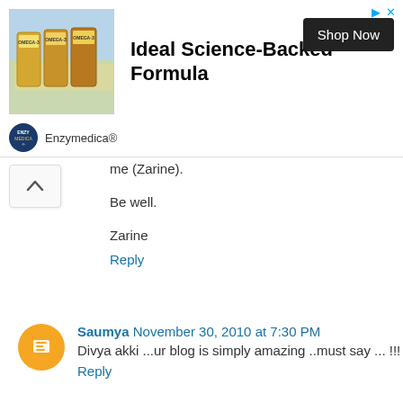[Figure (infographic): Advertisement banner for Enzymedica Omega-3 supplement. Shows product images on the left, bold text 'Ideal Science-Backed Formula' in center, 'Shop Now' button on right, and Enzymedica brand logo/name at bottom left.]
me (Zarine).
Be well.
Zarine
Reply
Saumya November 30, 2010 at 7:30 PM
Divya akki ...ur blog is simply amazing ..must say ... !!!
Reply
Anonymous December 1, 2010 at 9:31 AM
Hi
Just came across yr blog Great one keep up the good